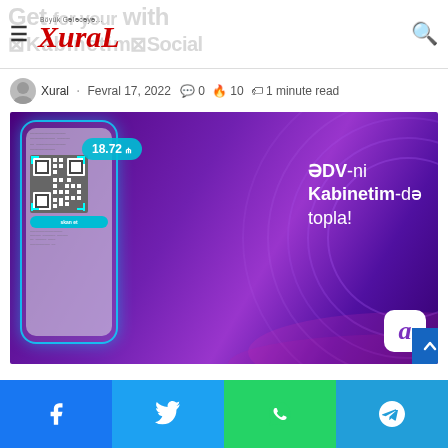XuraL – Böyük Gələcəyə...
Xural · Fevral 17, 2022 · 0 comments · 10 · 1 minute read
[Figure (photo): Advertisement banner for Kabinetim app showing a smartphone with QR code scanner, price badge showing 18.72₼, and text 'ƏDV-ni Kabinetim-də topla!' on purple gradient background with circular glow rings]
Facebook share · Twitter share · WhatsApp share · Telegram share